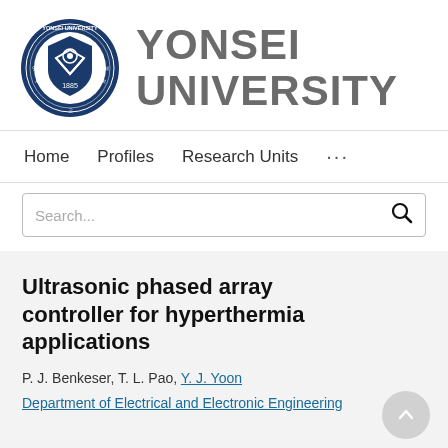[Figure (logo): Yonsei University seal/crest logo — circular blue seal with shield and text 'YONSEI UNIVERSITY 1885' alongside the large text 'YONSEI UNIVERSITY' in gray]
Home   Profiles   Research Units   ...
Search...
Ultrasonic phased array controller for hyperthermia applications
P. J. Benkeser, T. L. Pao, Y. J. Yoon
Department of Electrical and Electronic Engineering